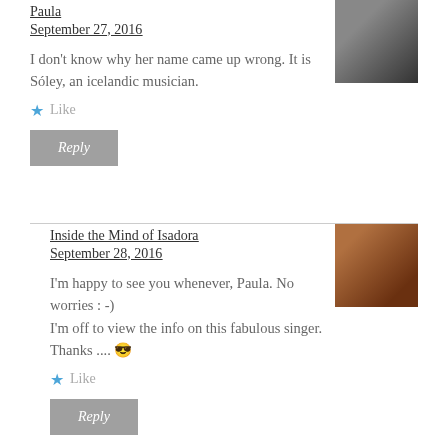Paula
September 27, 2016
[Figure (photo): Black and white avatar photo of Paula]
I don't know why her name came up wrong. It is Sóley, an icelandic musician.
★ Like
Reply
Inside the Mind of Isadora
September 28, 2016
[Figure (photo): Color avatar photo of Isadora with curly hair]
I'm happy to see you whenever, Paula. No worries : -)
I'm off to view the info on this fabulous singer. Thanks .... 😎
★ Like
Reply